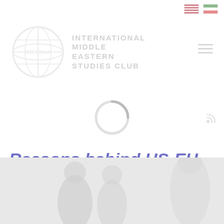[Figure (logo): International Middle Eastern Studies Club (IMESClub) logo with globe icon and organization name]
Reasons behind US-EU rift over Iran nuclear deal
[Figure (photo): Hero image at bottom of page showing figures, heavily faded/grayscale]